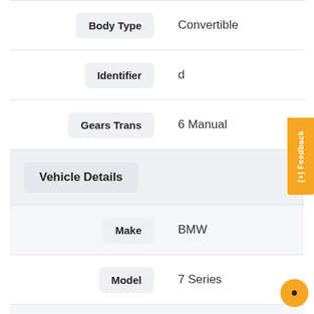| Field | Value |
| --- | --- |
| Body Type | Convertible |
| Identifier | d |
| Gears Trans | 6 Manual |
| Vehicle Details |  |
| Make | BMW |
| Model | 7 Series |
| Engine Size | 3.0 |